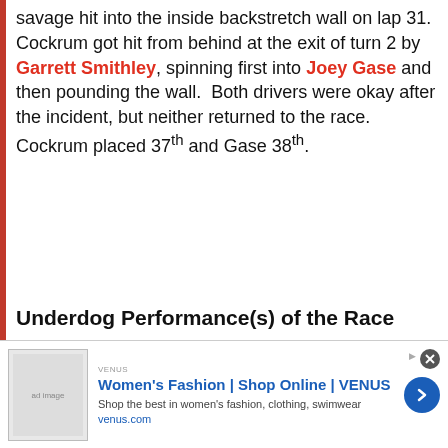savage hit into the inside backstretch wall on lap 31. Cockrum got hit from behind at the exit of turn 2 by Garrett Smithley, spinning first into Joey Gase and then pounding the wall. Both drivers were okay after the incident, but neither returned to the race. Cockrum placed 37th and Gase 38th.
Underdog Performance(s) of the Race
In a season where almost nothing has gone right for Jeremy Clements, Talladega proved to be a good race for him. He led seven laps during a green flag pit stop cycle and